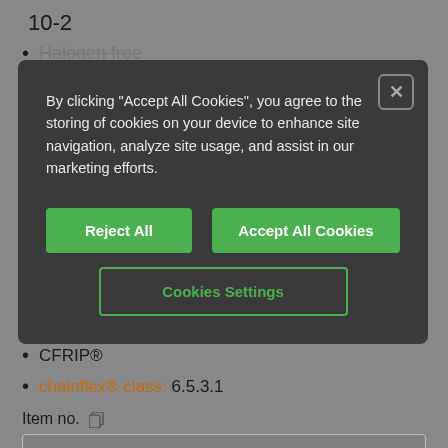10-2
Halogen free
[Figure (screenshot): Cookie consent modal dialog with dark background containing text, two green filled buttons (Reject All, Accept All Cookies), and one green outlined button (Cookies Settings) with a close icon in top-right corner]
By clicking "Accept All Cookies", you agree to the storing of cookies on your device to enhance site navigation, analyze site usage, and assist in our marketing efforts.
CFRIP®
chainflex® class: 6.5.3.1
Item no.
MAT94500003
Manufacturer Part No